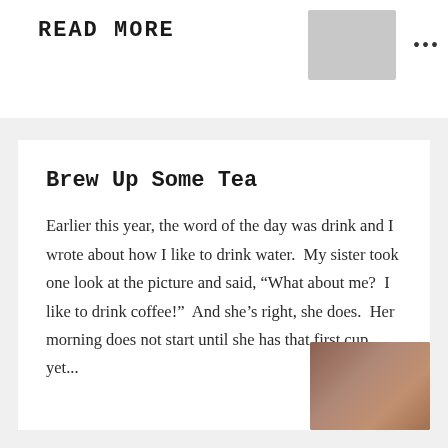READ MORE
[Figure (photo): Small thumbnail photo in upper right area, appears to show a dark object against a light background]
Brew Up Some Tea
Earlier this year, the word of the day was drink and I wrote about how I like to drink water.  My sister took one look at the picture and said, “What about me?  I like to drink coffee!”  And she’s right, she does.  Her morning does not start until she has that first cup, yet...
[Figure (photo): Photo in lower right corner showing two people, appears to be indoors with reddish/warm tones]